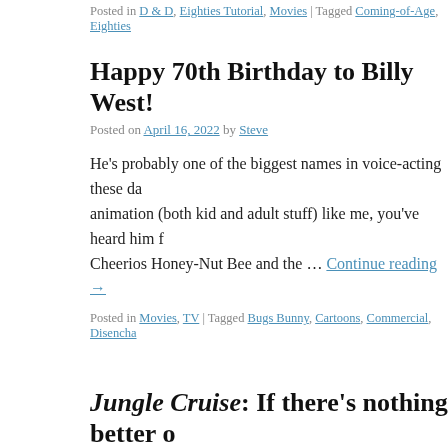Posted in D & D, Eighties Tutorial, Movies | Tagged Coming-of-Age, Eighties
Happy 70th Birthday to Billy West!
Posted on April 16, 2022 by Steve
He's probably one of the biggest names in voice-acting these days... animation (both kid and adult stuff) like me, you've heard him f... Cheerios Honey-Nut Bee and the … Continue reading →
Posted in Movies, TV | Tagged Bugs Bunny, Cartoons, Commercial, Disencha
Jungle Cruise: If there's nothing better o
Posted on April 15, 2022 by Steve
You're free to see this painfully mediocre fare on Disney+ nowa... birthday weekend (2021) and it was my inaugural experience w... friendlier (but to me bro' friendlier) rival Flix Brewhouse in Ro... reading →
Posted in...